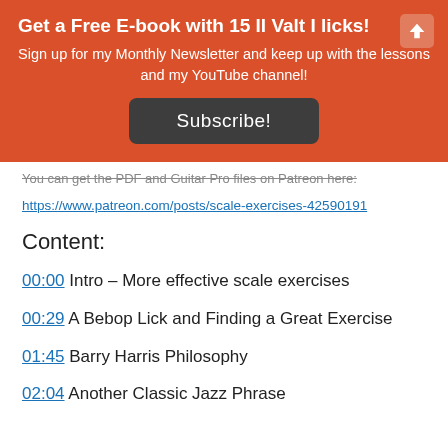Get a Free E-book with 15 II Valt I licks!
Sign up for my Monthly Newsletter and keep up with the lessons and my YouTube channel!
Subscribe!
You can get the PDF and Guitar Pro files on Patreon here:
https://www.patreon.com/posts/scale-exercises-42590191
Content:
00:00 Intro – More effective scale exercises
00:29 A Bebop Lick and Finding a Great Exercise
01:45 Barry Harris Philosophy
02:04 Another Classic Jazz Phrase